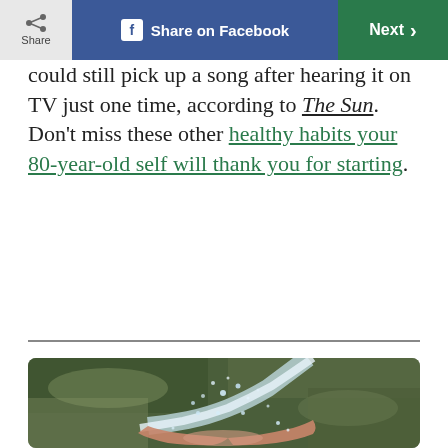Share | Share on Facebook | Next
could still pick up a song after hearing it on TV just one time, according to The Sun. Don't miss these other healthy habits your 80-year-old self will thank you for starting.
[Figure (photo): Hands cupped under a stream of running water splashing, with mossy rocks in the background.]